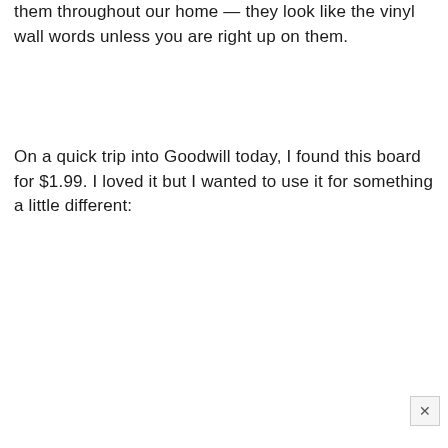them throughout our home — they look like the vinyl wall words unless you are right up on them.
On a quick trip into Goodwill today, I found this board for $1.99. I loved it but I wanted to use it for something a little different: